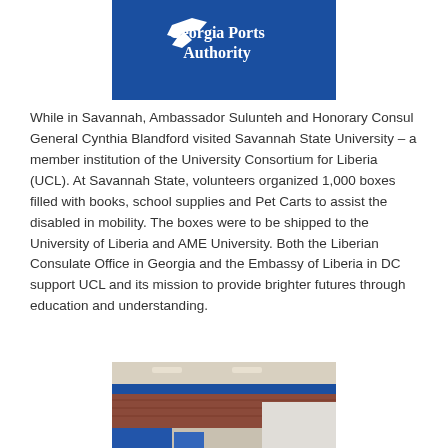[Figure (photo): Georgia Ports Authority logo on blue background with white bird/pelican graphic and white serif text]
While in Savannah, Ambassador Sulunteh and Honorary Consul General Cynthia Blandford visited Savannah State University – a member institution of the University Consortium for Liberia (UCL). At Savannah State, volunteers organized 1,000 boxes filled with books, school supplies and Pet Carts to assist the disabled in mobility. The boxes were to be shipped to the University of Liberia and AME University. Both the Liberian Consulate Office in Georgia and the Embassy of Liberia in DC support UCL and its mission to provide brighter futures through education and understanding.
[Figure (photo): Interior photo showing brick wall with blue stripe, ceiling with overhead lights and shelving or storage area]